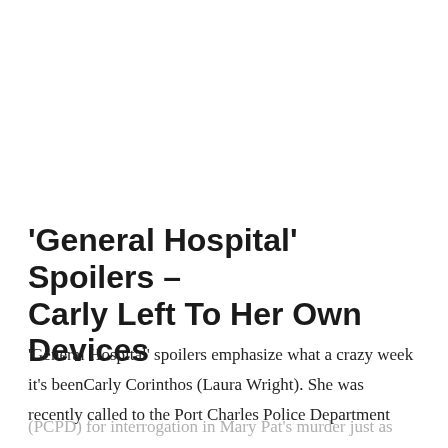'General Hospital' Spoilers – Carly Left To Her Own Devices
'General Hospital' spoilers emphasize what a crazy week it's beenCarly Corinthos (Laura Wright). She was recently called to the Port Charles Police Department (PCPD) for interrogation in Mary Pat's murder just as Sonny Corinthos (Maurice Benard) was trying to prove